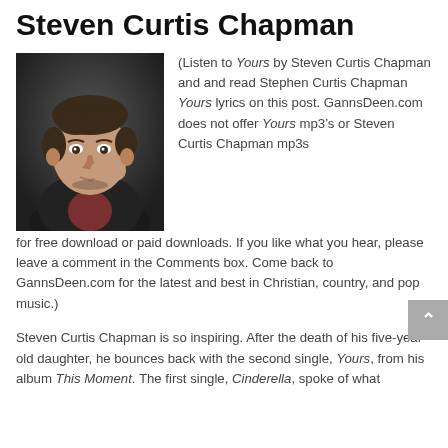Steven Curtis Chapman
[Figure (photo): Portrait photo of Steven Curtis Chapman, a man with short dark hair resting his chin on his hand, wearing a dark jacket, with a dark background.]
(Listen to Yours by Steven Curtis Chapman and and read Stephen Curtis Chapman Yours lyrics on this post. GannsDeen.com does not offer Yours mp3’s or Steven Curtis Chapman mp3s for free download or paid downloads. If you like what you hear, please leave a comment in the Comments box. Come back to GannsDeen.com for the latest and best in Christian, country, and pop music.)
Steven Curtis Chapman is so inspiring. After the death of his five-year-old daughter, he bounces back with the second single, Yours, from his album This Moment. The first single, Cinderella, spoke of what